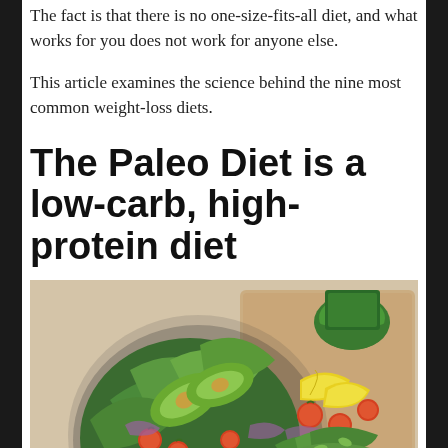The fact is that there is no one-size-fits-all diet, and what works for you does not work for anyone else.
This article examines the science behind the nine most common weight-loss diets.
The Paleo Diet is a low-carb, high-protein diet
[Figure (photo): A plate of paleo-style food featuring sliced steak, avocado, cherry tomatoes, and leafy greens, alongside another serving of salad with lemon, cherry tomatoes, and mixed greens on a wooden cutting board.]